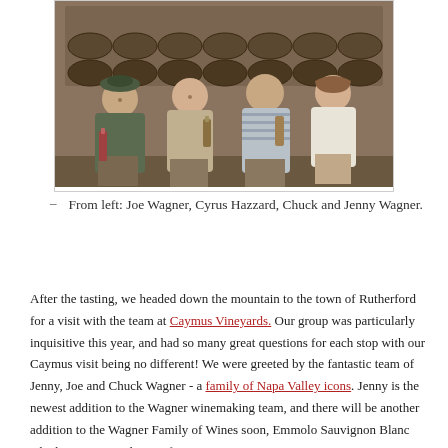[Figure (photo): Four people standing in front of wine barrels in a winery, holding wine bottles. From left: Joe Wagner, Cyrus Hazzard, Chuck and Jenny Wagner.]
– From left: Joe Wagner, Cyrus Hazzard, Chuck and Jenny Wagner.
After the tasting, we headed down the mountain to the town of Rutherford for a visit with the team at Caymus Vineyards. Our group was particularly inquisitive this year, and had so many great questions for each stop with our Caymus visit being no different! We were greeted by the fantastic team of Jenny, Joe and Chuck Wagner - a family of Napa Valley icons. Jenny is the newest addition to the Wagner winemaking team, and there will be another addition to the Wagner Family of Wines soon, Emmolo Sauvignon Blanc which Jenny is in charge of. Joe Wagner is